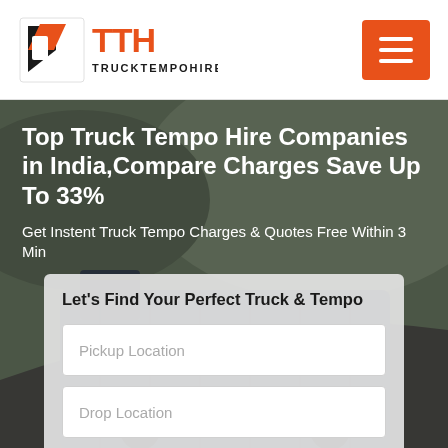[Figure (logo): TTH TruckTempoHire logo with orange and black icon and text]
[Figure (other): Orange hamburger menu button with three white horizontal lines]
[Figure (photo): Background photo of a truck on a mountainous road, dark blue tarpaulin covered truck visible]
Top Truck Tempo Hire Companies in India,Compare Charges Save Up To 33%
Get Instent Truck Tempo Charges & Quotes Free Within 3 Min
Let's Find Your Perfect Truck & Tempo
Pickup Location
Drop Location